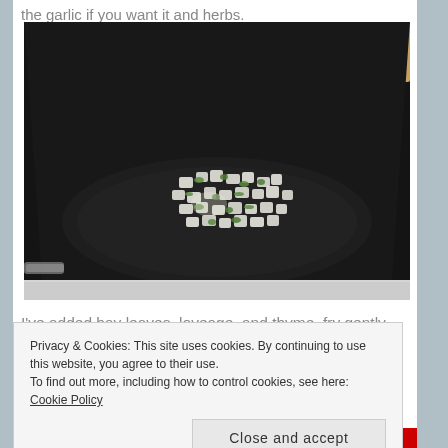the garlic if you want it and herbs.
[Figure (photo): A black cooking pot viewed from above, showing chopped onions and herbs (including green herbs like loveage and thyme) being sautéed in oil at the bottom of the pot, on a stovetop.]
I've added bay leaves, loveage, and thyme. fry gently
Privacy & Cookies: This site uses cookies. By continuing to use this website, you agree to their use.
To find out more, including how to control cookies, see here: Cookie Policy
Close and accept